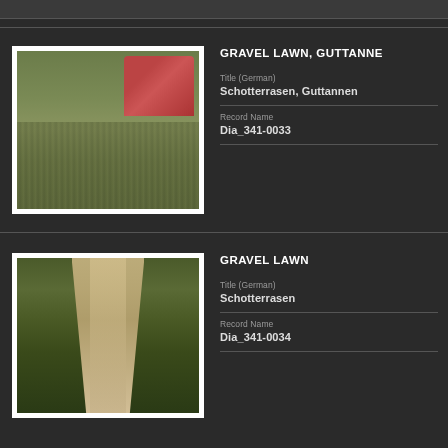[Figure (photo): Photo of gravel lawn with red car visible in top right corner, green grass with gravel patches]
GRAVEL LAWN, GUTTANNE
Title (German)
Schotterrasen, Guttannen
Record Name
Dia_341-0033
[Figure (photo): Photo of a gravel path/track between green grass strips, perspective view receding into distance]
GRAVEL LAWN
Title (German)
Schotterrasen
Record Name
Dia_341-0034